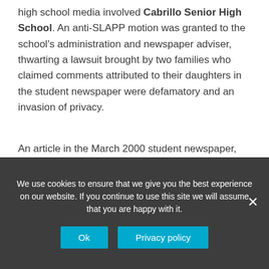high school media involved Cabrillo Senior High School. An anti-SLAPP motion was granted to the school's administration and newspaper adviser, thwarting a lawsuit brought by two families who claimed comments attributed to their daughters in the student newspaper were defamatory and an invasion of privacy.
An article in the March 2000 student newspaper, Fore & Aft, discussed the effect of divorce on students at the high school in Lompoc. One student was quoted as saying her ‘dad had a lot of affairs,’ and another allegedly said her ‘dad drank and beat [her] mom.’
We use cookies to ensure that we give you the best experience on our website. If you continue to use this site we will assume that you are happy with it.